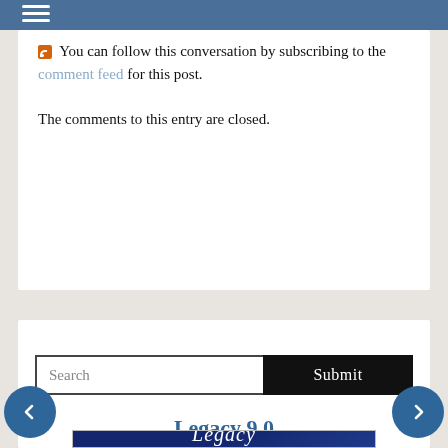You can follow this conversation by subscribing to the comment feed for this post.

The comments to this entry are closed.
Search
Legacy 9.0
[Figure (illustration): Legacy Family Tree software box product image on dark blue background]